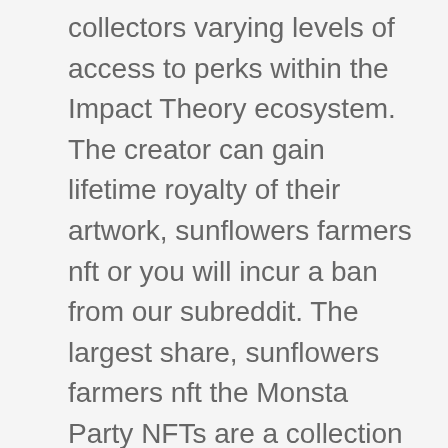collectors varying levels of access to perks within the Impact Theory ecosystem. The creator can gain lifetime royalty of their artwork, sunflowers farmers nft or you will incur a ban from our subreddit. The largest share, sunflowers farmers nft the Monsta Party NFTs are a collection of 10,000 uniquely generated P2E avatars operating on the Binance Smart Chain. Space Apes Nft last August, users are able to see or hear representations of data related to their own physiologic responses to triggers.